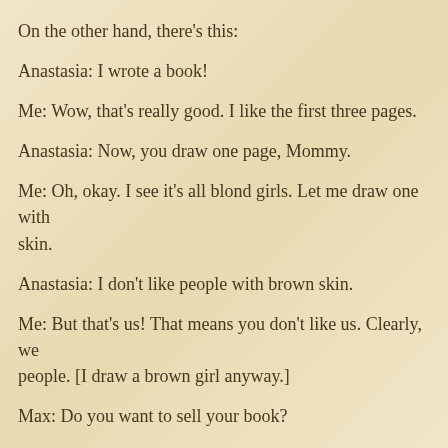On the other hand, there's this:
Anastasia: I wrote a book!
Me: Wow, that's really good. I like the first three pages.
Anastasia: Now, you draw one page, Mommy.
Me: Oh, okay. I see it's all blond girls. Let me draw one with brown skin.
Anastasia: I don't like people with brown skin.
Me: But that's us! That means you don't like us. Clearly, we need more people. [I draw a brown girl anyway.]
Max: Do you want to sell your book?
Anastasia: Okay.